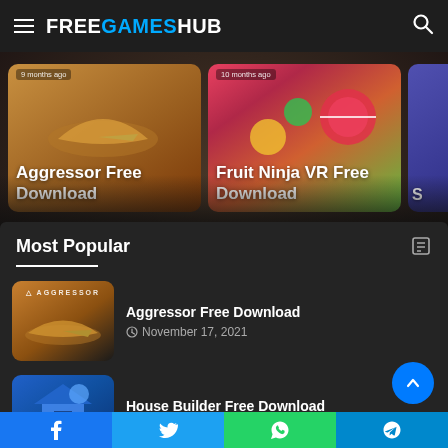FREE GAMES HUB
[Figure (screenshot): Hero carousel showing game thumbnails: Aggressor Free Download (golden/orange background) and Fruit Ninja VR Free Download (colorful fruit background), with partial third card. Labels show '9 months ago' and '10 months ago'.]
Most Popular
Aggressor Free Download — November 17, 2021
House Builder Free Download — November 18, 2021
Facebook | Twitter | WhatsApp | Telegram